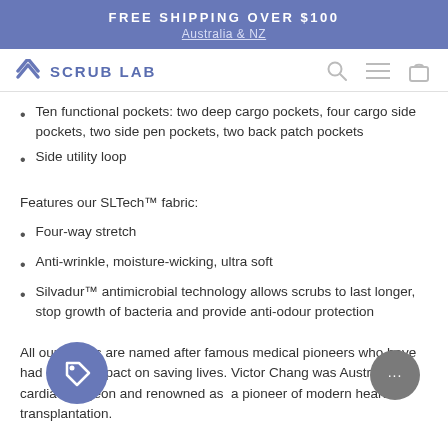FREE SHIPPING OVER $100
Australia & NZ
[Figure (logo): Scrub Lab logo with stylized S icon and nav icons (search, menu, bag)]
Ten functional pockets: two deep cargo pockets, four cargo side pockets, two side pen pockets, two back patch pockets
Side utility loop
Features our SLTech™ fabric:
Four-way stretch
Anti-wrinkle, moisture-wicking, ultra soft
Silvadur™ antimicrobial technology allows scrubs to last longer, stop growth of bacteria and provide anti-odour protection
All our scrubs are named after famous medical pioneers who have had a huge impact on saving lives. Victor Chang was Australia's cardiac surgeon and renowned as a pioneer of modern heart transplantation.